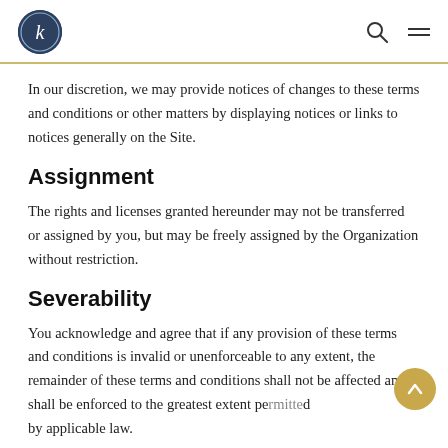In our discretion, we may provide notices of changes to these terms and conditions or other matters by displaying notices or links to notices generally on the Site.
Assignment
The rights and licenses granted hereunder may not be transferred or assigned by you, but may be freely assigned by the Organization without restriction.
Severability
You acknowledge and agree that if any provision of these terms and conditions is invalid or unenforceable to any extent, the remainder of these terms and conditions shall not be affected and shall be enforced to the greatest extent permitted by applicable law.